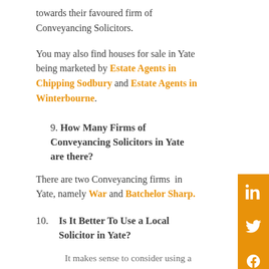towards their favoured firm of Conveyancing Solicitors.
You may also find houses for sale in Yate being marketed by Estate Agents in Chipping Sodbury and Estate Agents in Winterbourne.
9. How Many Firms of Conveyancing Solicitors in Yate are there?
There are two Conveyancing firms in Yate, namely War... and Batchelor Sharp.
10. Is It Better To Use a Local Solicitor in Yate?
It makes sense to consider using a local Conveyancing Solicitor for your house sale or purchase in Yate.